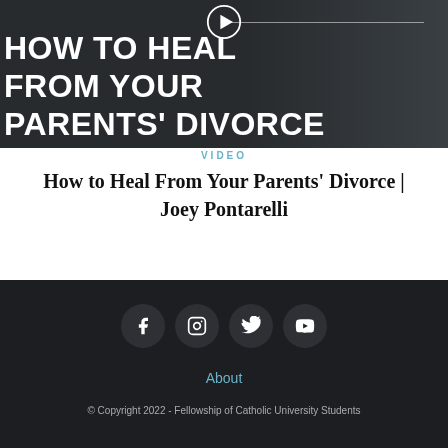[Figure (screenshot): Video thumbnail showing 'HOW TO HEAL FROM YOUR PARENTS' DIVORCE' text overlay on dark background with a play button at top]
VIDEO
How to Heal From Your Parents' Divorce | Joey Pontarelli
[Figure (infographic): Footer with social media icons: Facebook, Instagram, Twitter, YouTube]
About
© Copyright 2022 - Fellowship of Catholic University Students